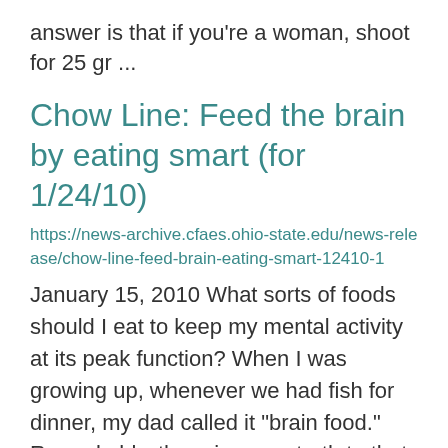answer is that if you're a woman, shoot for 25 gr ...
Chow Line: Feed the brain by eating smart (for 1/24/10)
https://news-archive.cfaes.ohio-state.edu/news-release/chow-line-feed-brain-eating-smart-12410-1
January 15, 2010 What sorts of foods should I eat to keep my mental activity at its peak function? When I was growing up, whenever we had fish for dinner, my dad called it "brain food." Remarkably, there is some truth to that (read on for detail ...